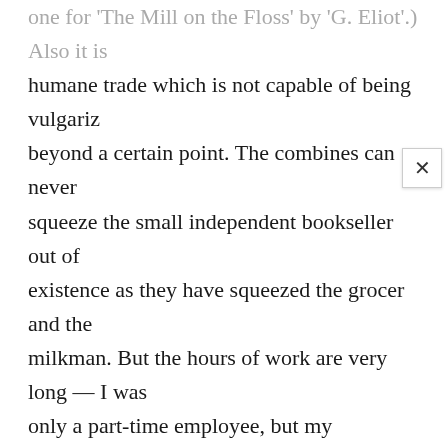one for 'The Mill on the Floss' by 'G. Eliot'.) Also it is humane trade which is not capable of being vulgarized beyond a certain point. The combines can never squeeze the small independent bookseller out of existence as they have squeezed the grocer and the milkman. But the hours of work are very long — I was only a part-time employee, but my employer put in a seventy-hour week, apart from constant expeditions out of hours to buy books — and it is an unhealthy life. As a rule a bookshop is horribly cold in winter, because if it is too warm the windows get misted over, and a bookseller lives on his windows. And books give off more and nastier dust than any other class of objects yet invented.